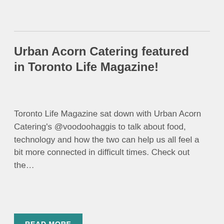Urban Acorn Catering featured in Toronto Life Magazine!
Toronto Life Magazine sat down with Urban Acorn Catering's @voodoohaggis to talk about food, technology and how the two can help us all feel a bit more connected in difficult times. Check out the…
READ MORE
April 8, 2020 at 1:15 pm
BabyPoint
Resources available for business